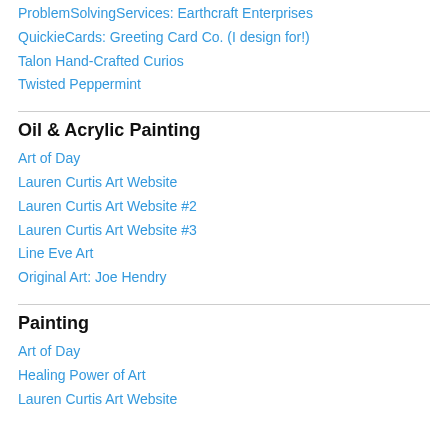ProblemSolvingServices: Earthcraft Enterprises
QuickieCards: Greeting Card Co. (I design for!)
Talon Hand-Crafted Curios
Twisted Peppermint
Oil & Acrylic Painting
Art of Day
Lauren Curtis Art Website
Lauren Curtis Art Website #2
Lauren Curtis Art Website #3
Line Eve Art
Original Art: Joe Hendry
Painting
Art of Day
Healing Power of Art
Lauren Curtis Art Website